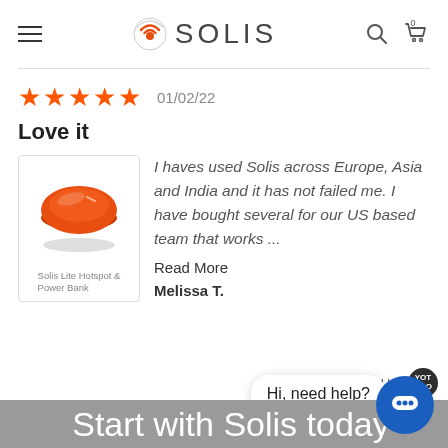SOLIS
01/02/22
Love it
[Figure (photo): Orange Solis Lite Hotspot & Power Bank device, disc-shaped, orange color, viewed from slight angle]
Solis Lite Hotspot & Power Bank
I haves used Solis across Europe, Asia and India and it has not failed me. I have bought several for our US based team that works ...
Read More
Melissa T.
Powered by
Hi, need help?
Start with Solis today